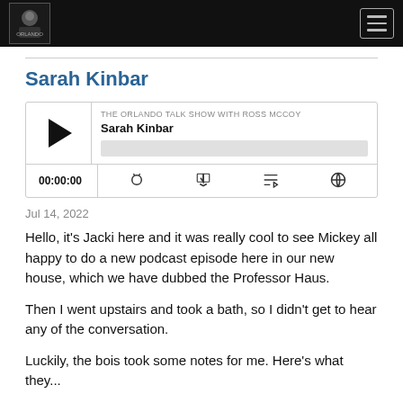[Figure (screenshot): Navigation bar with podcast logo on left and hamburger menu icon on right, dark background]
Sarah Kinbar
[Figure (screenshot): Podcast player widget showing 'THE ORLANDO TALK SHOW WITH ROSS MCCOY' with episode 'Sarah Kinbar', play button, progress bar, time 00:00:00, and media control icons]
Jul 14, 2022
Hello, it's Jacki here and it was really cool to see Mickey all happy to do a new podcast episode here in our new house, which we have dubbed the Professor Haus.
Then I went upstairs and took a bath, so I didn't get to hear any of the conversation.
Luckily, the bois took some notes for me. Here's what they...